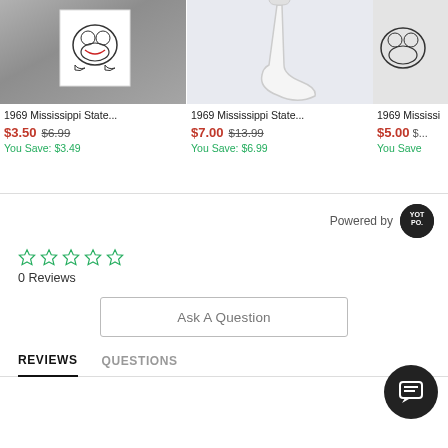[Figure (photo): Product image: fridge magnet with bulldog illustration on metallic surface]
1969 Mississippi State...
$3.50 $6.99
You Save: $3.49
[Figure (photo): Product image: white socks on a leg against light background]
1969 Mississippi State...
$7.00 $13.99
You Save: $6.99
[Figure (photo): Product image: partial view of item with bulldog illustration, partially cut off]
1969 Mississi...
$5.00 $...
You Save...
Powered by
[Figure (logo): Yotpo logo - circular black badge with YOT PO. text]
0 Reviews
Ask A Question
REVIEWS
QUESTIONS
[Figure (illustration): Chat bubble icon - circular dark button with message lines icon]